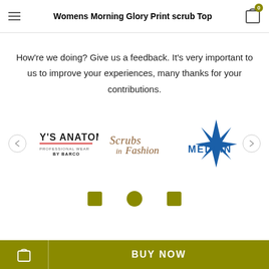Womens Morning Glory Print scrub Top
How're we doing? Give us a feedback. It's very important to us to improve your experiences, many thanks for your contributions.
[Figure (logo): Three brand logos in a carousel: Y'S ANATOMY by Barco (left), Scrubs in Fashion (center), MEDLIN with star design (right), with left and right navigation arrows.]
[Figure (other): Bottom navigation icons (partial): two square icons and one circular icon visible at the bottom of the page.]
BUY NOW